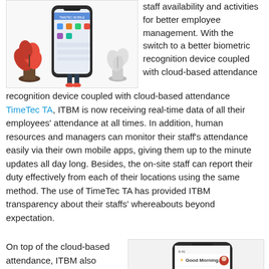[Figure (illustration): Illustration of a person standing next to a large smartphone showing an app, with potted plants on either side]
staff availability and activities for better employee management. With the switch to a better biometric recognition device coupled with cloud-based attendance TimeTec TA, ITBM is now receiving real-time data of all their employees' attendance at all times. In addition, human resources and managers can monitor their staff's attendance easily via their own mobile apps, giving them up to the minute updates all day long. Besides, the on-site staff can report their duty effectively from each of their locations using the same method. The use of TimeTec TA has provided ITBM transparency about their staffs' whereabouts beyond expectation.
On top of the cloud-based attendance, ITBM also subscribes to TimeTec cloud-
[Figure (screenshot): Screenshot of a mobile app showing 'Good Morning' greeting and app icons on a smartphone]